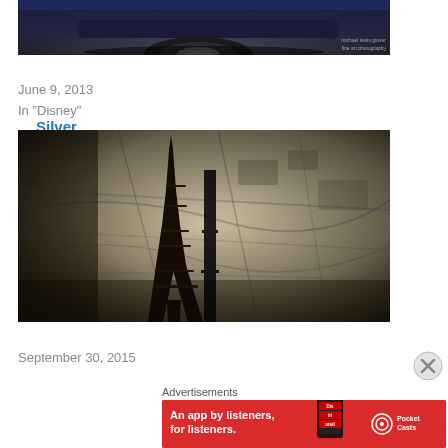[Figure (photo): Bottom portion of a silver/blue car with wheel visible on dark surface]
Silver Bullet
June 9, 2013
In "Disney"
[Figure (photo): Eiffel Tower model/miniature in front of a map illustration background, dark atmospheric photo]
Postcards From Paris!
September 30, 2015
Advertisements
[Figure (photo): Pocket Casts advertisement banner: An app by listeners, for listeners. Red background with phone showing Distributed podcast app and Pocket Casts logo.]